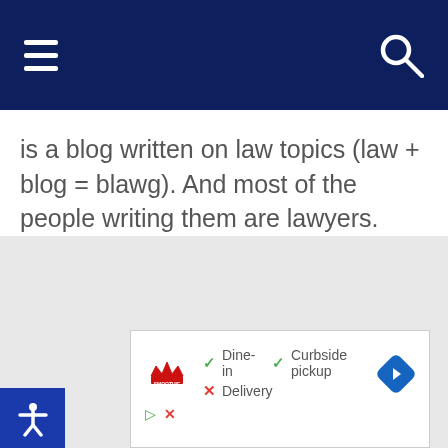[Navigation bar with hamburger menu and search icon]
is a blog written on law topics (law + blog = blawg). And most of the people writing them are lawyers.
[Figure (other): Blue accessibility icon button showing a person figure with arms raised]
[Figure (other): Advertisement: Smoothie King restaurant listing showing Dine-in (check), Curbside pickup (check), Delivery (cross), with a blue navigation diamond icon]